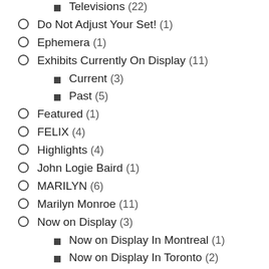Televisions (22)
Do Not Adjust Your Set! (1)
Ephemera (1)
Exhibits Currently On Display (11)
Current (3)
Past (5)
Featured (1)
FELIX (4)
Highlights (4)
John Logie Baird (1)
MARILYN (6)
Marilyn Monroe (11)
Now on Display (3)
Now on Display In Montreal (1)
Now on Display In Toronto (2)
Online Galleries (2)
Past Exhibits (3)
Philo Taylor Farnsworth (1)
PIONEERS (6)